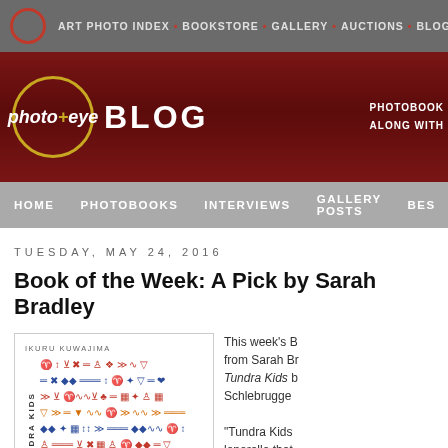ART PHOTO INDEX • BOOKSTORE • GALLERY • AUCTIONS • BLOG
[Figure (logo): photo-eye BLOG logo on dark red banner background with gold circle]
HOME  PHOTOBOOKS  INTERVIEWS  GALLERY POSTS  BEST...
TUESDAY, MAY 24, 2016
Book of the Week: A Pick by Sarah Bradley
[Figure (photo): Book cover of Tundra Kids by Ikuru Kuwajima showing colored symbols arranged in rows]
This week's Book of the Week pick comes from Sarah Bradley. She selected Tundra Kids by Ikuru Kuwajima, published by Schlebrugge.

"Tundra Kids is a leporello that